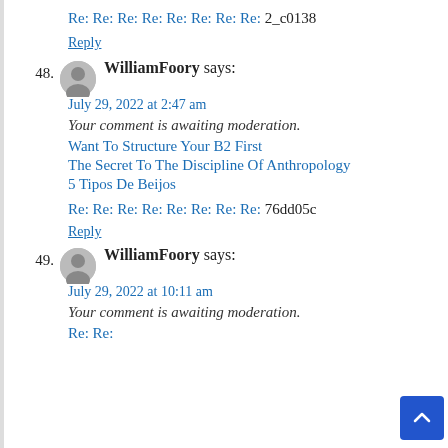Re: Re: Re: Re: Re: Re: Re: Re: 2_c0138
Reply
48. WilliamFoory says:
July 29, 2022 at 2:47 am
Your comment is awaiting moderation.
Want To Structure Your B2 First
The Secret To The Discipline Of Anthropology
5 Tipos De Beijos
Re: Re: Re: Re: Re: Re: Re: Re: 76dd05c
Reply
49. WilliamFoory says:
July 29, 2022 at 10:11 am
Your comment is awaiting moderation.
Re: Re: